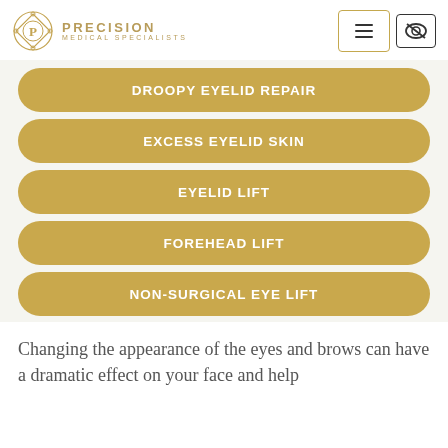Precision Medical Specialists
DROOPY EYELID REPAIR
EXCESS EYELID SKIN
EYELID LIFT
FOREHEAD LIFT
NON-SURGICAL EYE LIFT
Changing the appearance of the eyes and brows can have a dramatic effect on your face and help